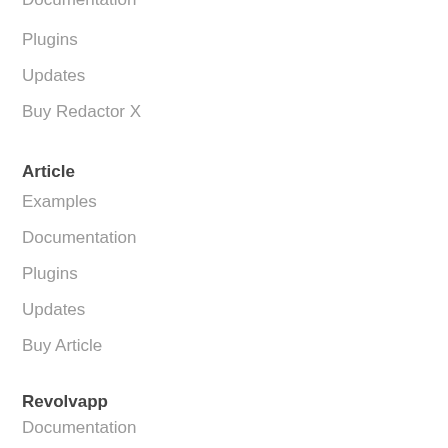Documentation
Plugins
Updates
Buy Redactor X
Article
Examples
Documentation
Plugins
Updates
Buy Article
Revolvapp
Documentation
Examples
Plugins